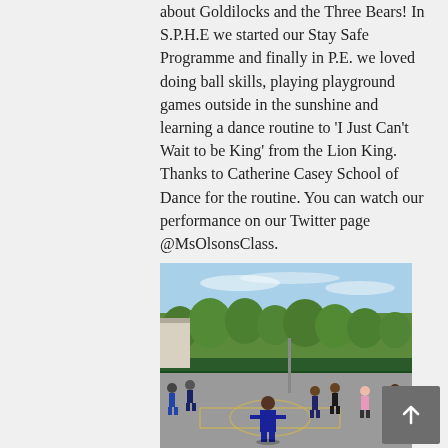about Goldilocks and the Three Bears! In S.P.H.E we started our Stay Safe Programme and finally in P.E. we loved doing ball skills, playing playground games outside in the sunshine and learning a dance routine to 'I Just Can't Wait to be King' from the Lion King. Thanks to Catherine Casey School of Dance for the routine. You can watch our performance on our Twitter page @MsOlsonsClass.
[Figure (photo): Children playing on a school playground with tarmac surface under a blue sky. Trees and school buildings visible in the background. Several children in dark clothing are active on the playground.]